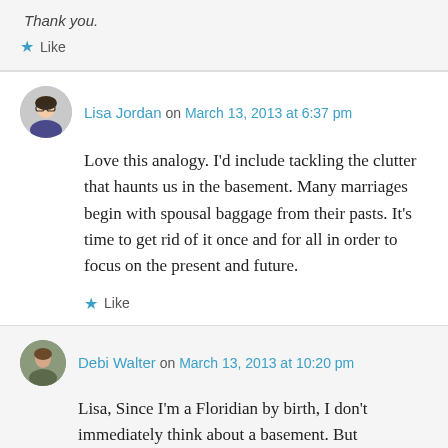Thank you.
Like
Lisa Jordan on March 13, 2013 at 6:37 pm
Love this analogy. I'd include tackling the clutter that haunts us in the basement. Many marriages begin with spousal baggage from their pasts. It's time to get rid of it once and for all in order to focus on the present and future.
Like
Debi Walter on March 13, 2013 at 10:20 pm
Lisa, Since I'm a Floridian by birth, I don't immediately think about a basement. But